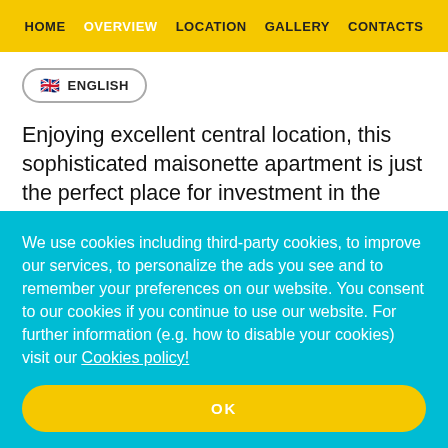HOME  OVERVIEW  LOCATION  GALLERY  CONTACTS
🇬🇧 ENGLISH
Enjoying excellent central location, this sophisticated maisonette apartment is just the perfect place for investment in the capital Sofia. The apartment occupies the seventh and eight floors of a solid residential building, constructed in the end of the last century and has southwestern disposition of the rooms. It covers 130 sq m of
We use cookies including third-party cookies, to improve our services, to personalize the ads you see and to remember your preferences on our website. You consent to our cookies if you continue to use our website. For further information (e.g. how to disable your cookies) visit our Cookies policy!
OK